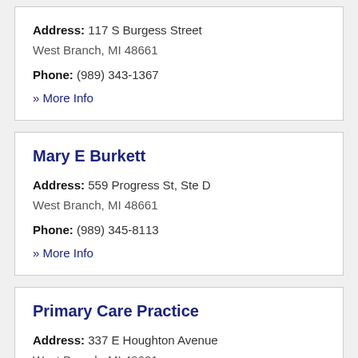Address: 117 S Burgess Street
West Branch, MI 48661
Phone: (989) 343-1367
» More Info
Mary E Burkett
Address: 559 Progress St, Ste D
West Branch, MI 48661
Phone: (989) 345-8113
» More Info
Primary Care Practice
Address: 337 E Houghton Avenue
West Branch, MI 48661